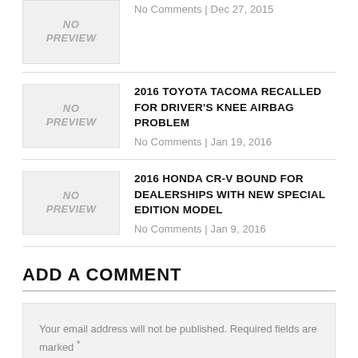[Figure (other): No preview placeholder image (top, partially visible)]
No Comments | Dec 27, 2015
[Figure (other): No preview placeholder image]
2016 TOYOTA TACOMA RECALLED FOR DRIVER'S KNEE AIRBAG PROBLEM
No Comments | Jan 19, 2016
[Figure (other): No preview placeholder image]
2016 HONDA CR-V BOUND FOR DEALERSHIPS WITH NEW SPECIAL EDITION MODEL
No Comments | Jan 9, 2016
ADD A COMMENT
Your email address will not be published. Required fields are marked *
Name: *